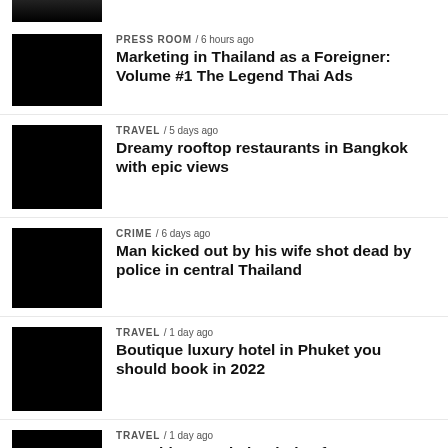[Figure (photo): Partial thumbnail image at top, partially cropped]
[Figure (photo): Black thumbnail image for Press Room article]
PRESS ROOM / 6 hours ago
Marketing in Thailand as a Foreigner: Volume #1 The Legend Thai Ads
[Figure (photo): Black thumbnail image for Travel article about Bangkok]
TRAVEL / 5 days ago
Dreamy rooftop restaurants in Bangkok with epic views
[Figure (photo): Black thumbnail image for Crime article]
CRIME / 6 days ago
Man kicked out by his wife shot dead by police in central Thailand
[Figure (photo): Black thumbnail image for Travel Phuket luxury hotel article]
TRAVEL / 1 day ago
Boutique luxury hotel in Phuket you should book in 2022
[Figure (photo): Black thumbnail image for Travel Phuket best things article]
TRAVEL / 1 day ago
Best things to do in Phuket for a memorable holiday